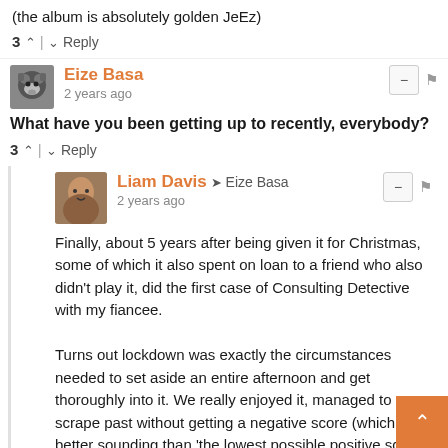(the album is absolutely golden JeEz)
3 ^ | v Reply
Eize Basa
2 years ago
What have you been getting up to recently, everybody?
3 ^ | v Reply
Liam Davis → Eize Basa
2 years ago
Finally, about 5 years after being given it for Christmas, some of which it also spent on loan to a friend who also didn't play it, did the first case of Consulting Detective with my fiancee.

Turns out lockdown was exactly the circumstances needed to set aside an entire afternoon and get thoroughly into it. We really enjoyed it, managed to scrape past without getting a negative score (which is better sounding than 'the lowest possible positive score) and all at once managed to feel quite stupid for missing some